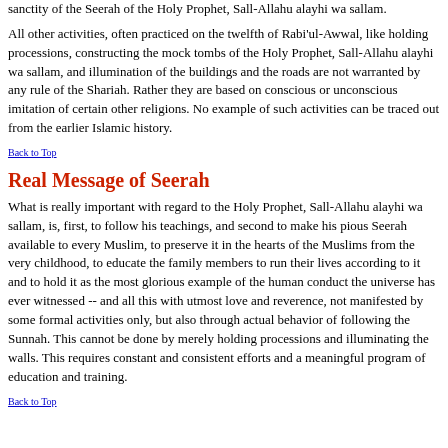sanctity of the Seerah of the Holy Prophet, Sall-Allahu alayhi wa sallam.
All other activities, often practiced on the twelfth of Rabi'ul-Awwal, like holding processions, constructing the mock tombs of the Holy Prophet, Sall-Allahu alayhi wa sallam, and illumination of the buildings and the roads are not warranted by any rule of the Shariah. Rather they are based on conscious or unconscious imitation of certain other religions. No example of such activities can be traced out from the earlier Islamic history.
Back to Top
Real Message of Seerah
What is really important with regard to the Holy Prophet, Sall-Allahu alayhi wa sallam, is, first, to follow his teachings, and second to make his pious Seerah available to every Muslim, to preserve it in the hearts of the Muslims from the very childhood, to educate the family members to run their lives according to it and to hold it as the most glorious example of the human conduct the universe has ever witnessed -- and all this with utmost love and reverence, not manifested by some formal activities only, but also through actual behavior of following the Sunnah. This cannot be done by merely holding processions and illuminating the walls. This requires constant and consistent efforts and a meaningful program of education and training.
Back to Top